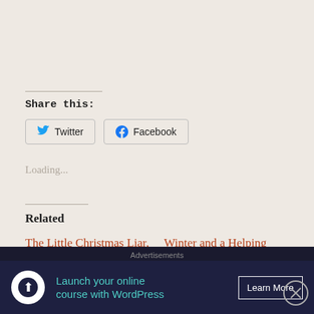Share this:
Twitter  Facebook
Loading...
Related
The Little Christmas Liar, Part II
December 19, 2020
Winter and a Helping Hand – Whether We Want It Or Not
Advertisements
Launch your online course with WordPress
Learn More